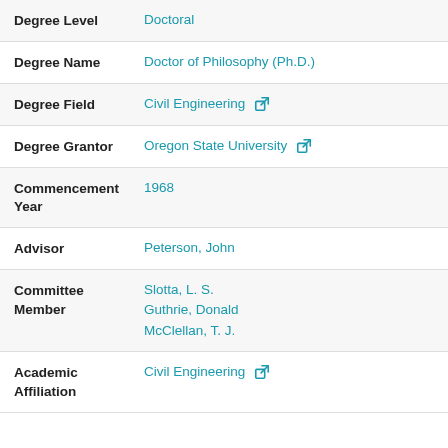| Field | Value |
| --- | --- |
| Degree Level | Doctoral |
| Degree Name | Doctor of Philosophy (Ph.D.) |
| Degree Field | Civil Engineering |
| Degree Grantor | Oregon State University |
| Commencement Year | 1968 |
| Advisor | Peterson, John |
| Committee Member | Slotta, L. S.
Guthrie, Donald
McClellan, T. J. |
| Academic Affiliation | Civil Engineering |